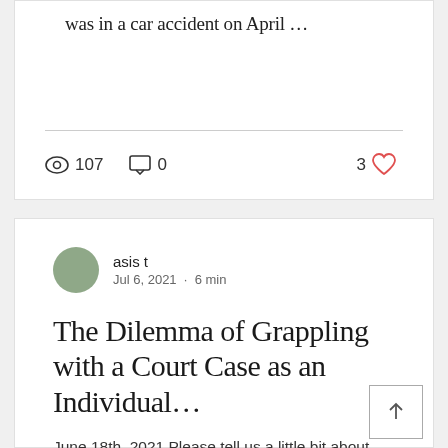was in a car accident on April …
107 views  0 comments  3 likes
asis t
Jul 6, 2021  •  6 min
The Dilemma of Grappling with a Court Case as an Individual…
June 18th, 2021 Please tell us a little bit about yourself, start with whatever you would like!…